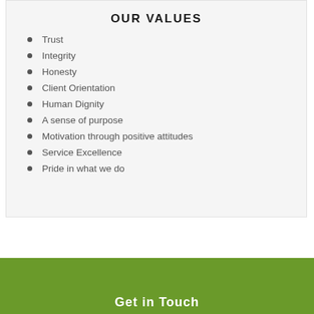OUR VALUES
Trust
Integrity
Honesty
Client Orientation
Human Dignity
A sense of purpose
Motivation through positive attitudes
Service Excellence
Pride in what we do
Get in Touch